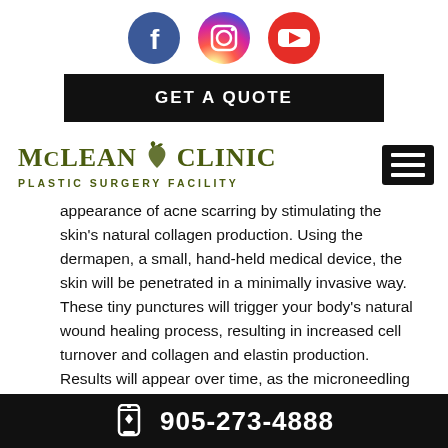[Figure (logo): Social media icons: Facebook (blue circle with f), Instagram (gradient circle with camera), YouTube (red circle with play button)]
GET A QUOTE
[Figure (logo): McLean Clinic logo with leaf/bird icon. Text: McLEAN CLINIC PLASTIC SURGERY FACILITY]
appearance of acne scarring by stimulating the skin's natural collagen production. Using the dermapen, a small, hand-held medical device, the skin will be penetrated in a minimally invasive way. These tiny punctures will trigger your body's natural wound healing process, resulting in increased cell turnover and collagen and elastin production. Results will appear over time, as the microneedling treatment will even
905-273-4888